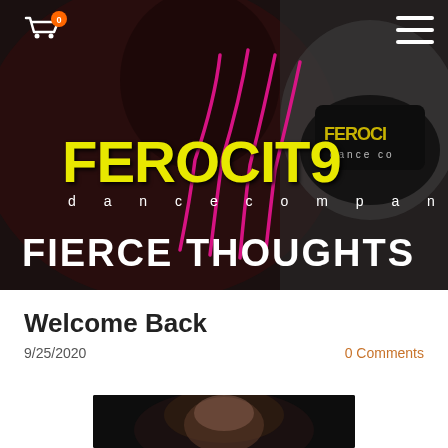[Figure (photo): Hero banner with dark background showing a person partially visible with Ferocity Dance Company logo overlaid with yellow graffiti text and pink claw mark graphics. 'FIERCE THOUGHTS' text at bottom left.]
Welcome Back
9/25/2020
0 Comments
[Figure (photo): Thumbnail photo of a person's head against dark background, partially visible at bottom of page.]